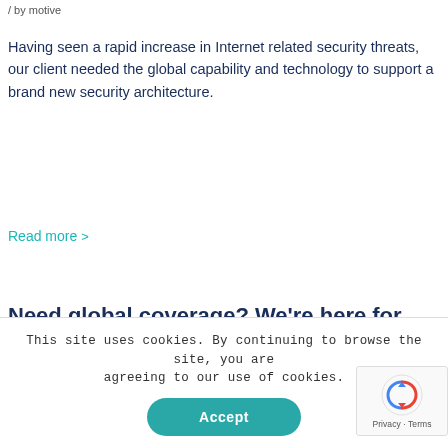/ by motive
Having seen a rapid increase in Internet related security threats, our client needed the global capability and technology to support a brand new security architecture.
Read more >
Need global coverage? We're here for you
28th Fevereiro 2020 / 0 Comments / in Case study, Technology
This site uses cookies. By continuing to browse the site, you are agreeing to our use of cookies.
Accept